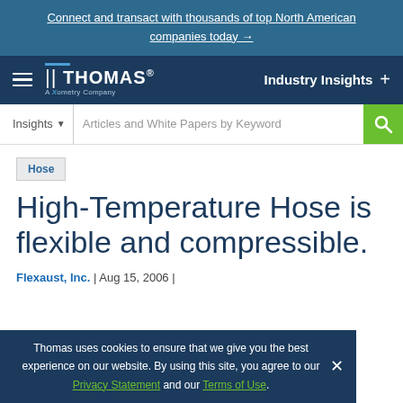Connect and transact with thousands of top North American companies today →
[Figure (logo): Thomas - A Xometry Company logo with navigation bar showing hamburger menu and Industry Insights link]
[Figure (screenshot): Search bar with Insights dropdown and Articles and White Papers by Keyword input field with green search button]
Hose
High-Temperature Hose is flexible and compressible.
Flexaust, Inc. | Aug 15, 2006 |
Thomas uses cookies to ensure that we give you the best experience on our website. By using this site, you agree to our Privacy Statement and our Terms of Use.